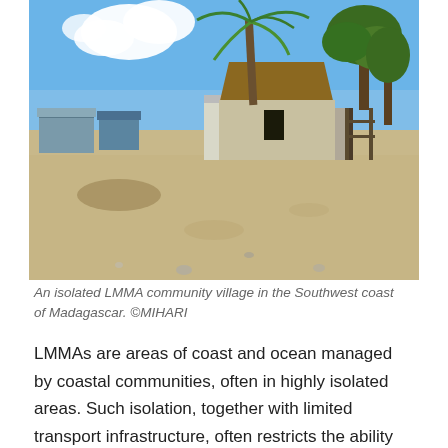[Figure (photo): A coastal village scene with sandy ground, thatched-roof and corrugated metal buildings, palm trees and other trees under a blue sky with white clouds.]
An isolated LMMA community village in the Southwest coast of Madagascar. ©MIHARI
LMMAs are areas of coast and ocean managed by coastal communities, often in highly isolated areas. Such isolation, together with limited transport infrastructure, often restricts the ability of health service providers to reach local communities and may limit the quality of those services provided. Nevertheless, the provision of